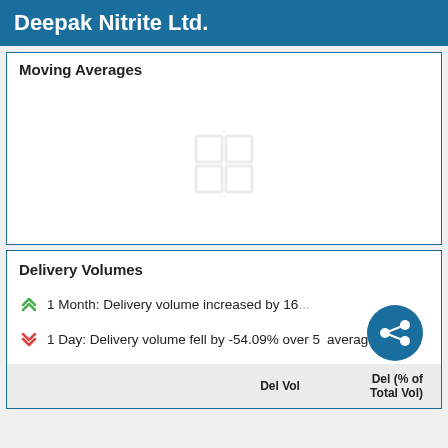Deepak Nitrite Ltd.
Moving Averages
[Figure (other): Moving Averages chart area — empty/loading state with a placeholder grid icon in the center]
Delivery Volumes
1 Month: Delivery volume increased by 16...
1 Day: Delivery volume fell by -54.09% over 5 day average
| Del Vol | Del (% of Total Vol) |
| --- | --- |